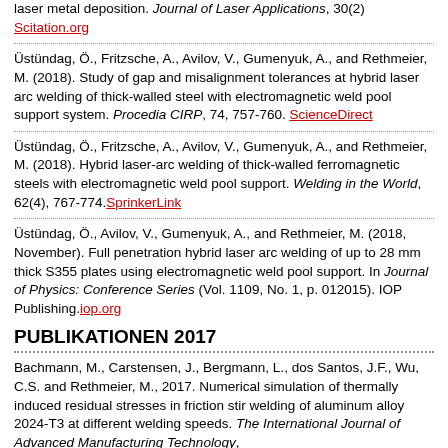laser metal deposition. Journal of Laser Applications, 30(2) Scitation.org
Üstündag, Ö., Fritzsche, A., Avilov, V., Gumenyuk, A., and Rethmeier, M. (2018). Study of gap and misalignment tolerances at hybrid laser arc welding of thick-walled steel with electromagnetic weld pool support system. Procedia CIRP, 74, 757-760. ScienceDirect
Üstündag, Ö., Fritzsche, A., Avilov, V., Gumenyuk, A., and Rethmeier, M. (2018). Hybrid laser-arc welding of thick-walled ferromagnetic steels with electromagnetic weld pool support. Welding in the World, 62(4), 767-774. SpringerLink
Üstündag, Ö., Avilov, V., Gumenyuk, A., and Rethmeier, M. (2018, November). Full penetration hybrid laser arc welding of up to 28 mm thick S355 plates using electromagnetic weld pool support. In Journal of Physics: Conference Series (Vol. 1109, No. 1, p. 012015). IOP Publishing. iop.org
PUBLIKATIONEN 2017
Bachmann, M., Carstensen, J., Bergmann, L., dos Santos, J.F., Wu, C.S. and Rethmeier, M., 2017. Numerical simulation of thermally induced residual stresses in friction stir welding of aluminum alloy 2024-T3 at different welding speeds. The International Journal of Advanced Manufacturing Technology,